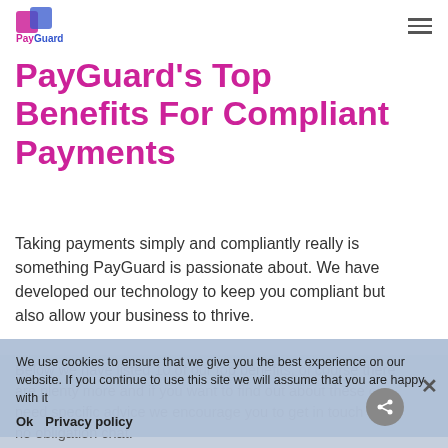PayGuard logo and navigation menu
PayGuard's Top Benefits For Compliant Payments
Taking payments simply and compliantly really is something PayGuard is passionate about. We have developed our technology to keep you compliant but also allow your business to thrive.
Below we have listed 10 of our top benefits, of course there are plenty more and if you want to find out about these or need specific advice we encourage you to get in touch for a no obligation chat.
We use cookies to ensure that we give you the best experience on our website. If you continue to use this site we will assume that you are happy with it
Ok   Privacy policy